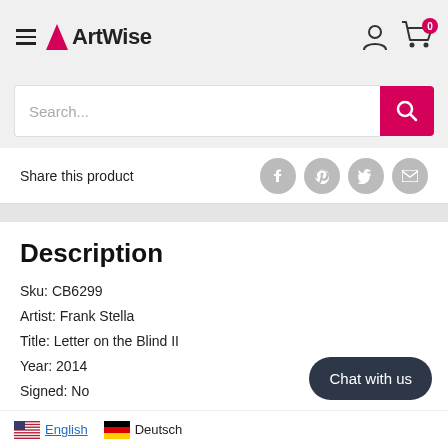ArtWise
Share this product
Description
Sku: CB6299
Artist: Frank Stella
Title: Letter on the Blind II
Year: 2014
Signed: No
Medium: Offset Lithograph
Paper Size: 32 x 26 inches ( 81.28 x 66.04 cm )
Image Size: 23.25 x 23.25 inches ( 59.055 x 59.055 cm )